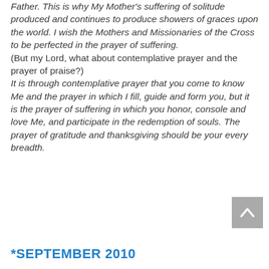Father. This is why My Mother's suffering of solitude produced and continues to produce showers of graces upon the world. I wish the Mothers and Missionaries of the Cross to be perfected in the prayer of suffering. (But my Lord, what about contemplative prayer and the prayer of praise?) It is through contemplative prayer that you come to know Me and the prayer in which I fill, guide and form you, but it is the prayer of suffering in which you honor, console and love Me, and participate in the redemption of souls. The prayer of gratitude and thanksgiving should be your every breadth.
*SEPTEMBER 2010